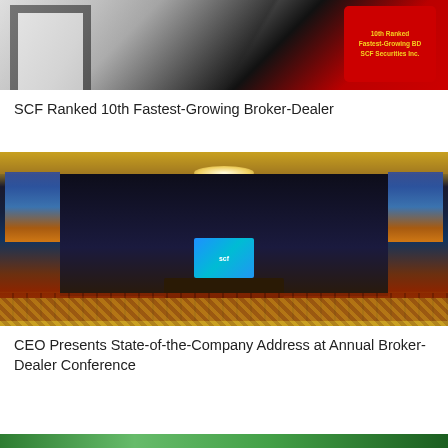[Figure (photo): Close-up photo of a red award plaque or sign reading '10th Ranked Fastest-Growing BD SCF Securities Inc.' on a dark background with framed items]
SCF Ranked 10th Fastest-Growing Broker-Dealer
[Figure (photo): Wide-angle photo of a large conference hall/ballroom with rows of red chairs, a stage with screens displaying SCF logo, chandeliers, and cactus decorations]
CEO Presents State-of-the-Company Address at Annual Broker-Dealer Conference
[Figure (photo): Partial view of another image at the bottom of the page (green tones visible)]